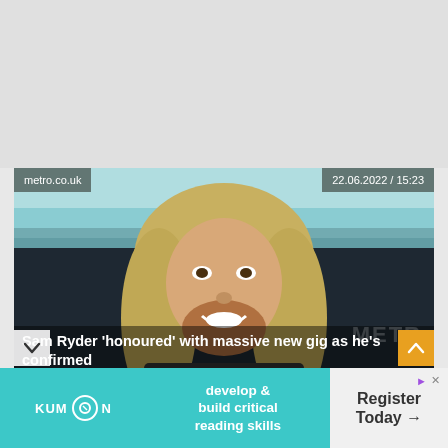[Figure (photo): Photo of Sam Ryder smiling with long blonde/light brown hair and beard, wearing casual clothes, with a crowd and teal/blue background. Overlaid with metro.co.uk source badge top-left and date 22.06.2022 / 15:23 top-right.]
Sam Ryder 'honoured' with massive new gig as he's confirmed to open 2022 Formula One Grand Prix
[Figure (other): Advertisement banner for Kumon: teal background with Kumon logo on left, text 'develop & build critical reading skills' in center, and 'Register Today →' button on right with play and close icons.]